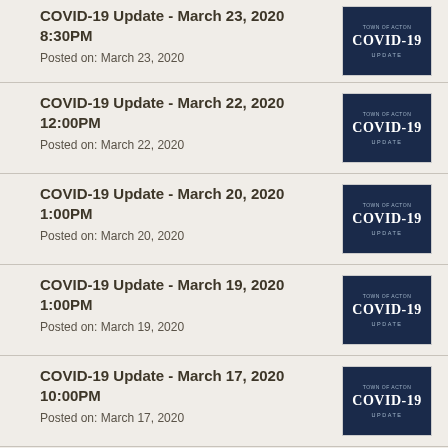COVID-19 Update - March 23, 2020 8:30PM
Posted on: March 23, 2020
COVID-19 Update - March 22, 2020 12:00PM
Posted on: March 22, 2020
COVID-19 Update - March 20, 2020 1:00PM
Posted on: March 20, 2020
COVID-19 Update - March 19, 2020 1:00PM
Posted on: March 19, 2020
COVID-19 Update - March 17, 2020 10:00PM
Posted on: March 17, 2020
COVID-19 Update - March 16, 2020 1:00PM
Posted on: March 16, 2020